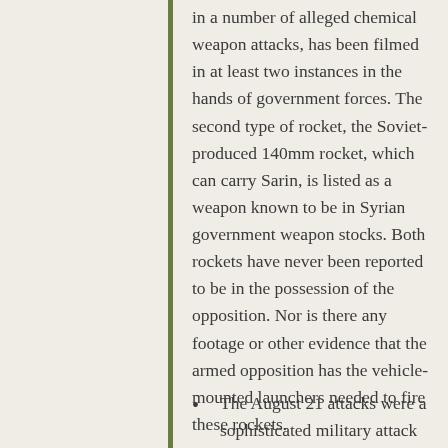in a number of alleged chemical weapon attacks, has been filmed in at least two instances in the hands of government forces. The second type of rocket, the Soviet-produced 140mm rocket, which can carry Sarin, is listed as a weapon known to be in Syrian government weapon stocks. Both rockets have never been reported to be in the possession of the opposition. Nor is there any footage or other evidence that the armed opposition has the vehicle-mounted launchers needed to fire these rockets.
The August 21 attacks were a sophisticated military attack